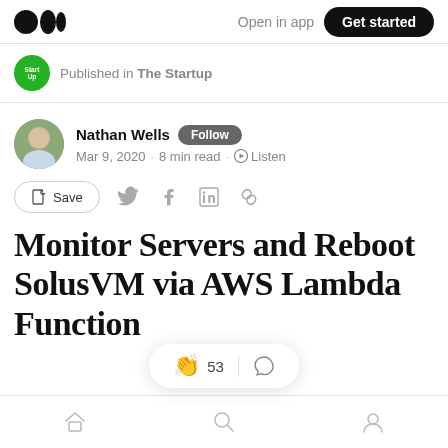Medium — Open in app — Get started
Published in The Startup
Nathan Wells  Follow
Mar 9, 2020 · 8 min read · Listen
Save (share icons)
Monitor Servers and Reboot SolusVM via AWS Lambda Function
53 (claps) | (comment icon)
Home  Search  Profile